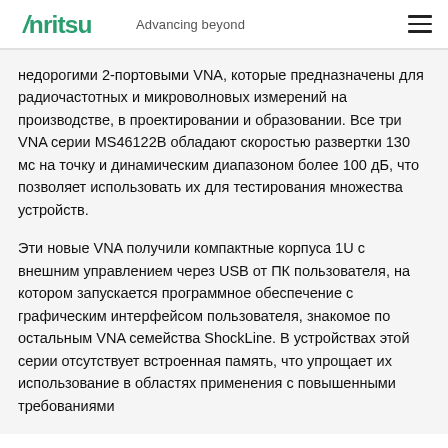Anritsu — Advancing beyond
недорогими 2-портовыми VNA, которые предназначены для радиочастотных и микроволновых измерений на производстве, в проектировании и образовании. Все три VNA серии MS46122B обладают скоростью развертки 130 мс на точку и динамическим диапазоном более 100 дБ, что позволяет использовать их для тестирования множества устройств.
Эти новые VNA получили компактные корпуса 1U с внешним управлением через USB от ПК пользователя, на котором запускается программное обеспечение с графическим интерфейсом пользователя, знакомое по остальным VNA семейства ShockLine. В устройствах этой серии отсутствует встроенная память, что упрощает их использование в областях применения с повышенными требованиями